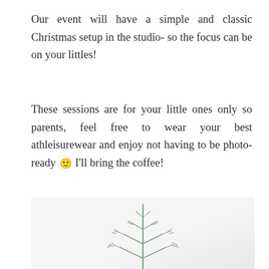Our event will have a simple and classic Christmas setup in the studio- so the focus can be on your littles!
These sessions are for your little ones only so parents, feel free to wear your best athleisurewear and enjoy not having to be photo-ready 🙂 I'll bring the coffee!
[Figure (photo): A minimal light grey studio background photo showing a small sprig of a Christmas tree branch in the lower center of the frame.]